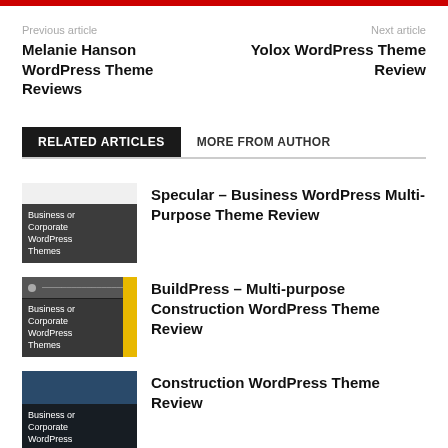Previous article
Next article
Melanie Hanson WordPress Theme Reviews
Yolox WordPress Theme Review
RELATED ARTICLES  MORE FROM AUTHOR
Specular – Business WordPress Multi-Purpose Theme Review
[Figure (illustration): Thumbnail image with 'Business or Corporate WordPress Themes' label overlay]
BuildPress – Multi-purpose Construction WordPress Theme Review
[Figure (illustration): Thumbnail image with 'Business or Corporate WordPress Themes' label overlay and yellow accent bar]
Construction WordPress Theme Review
[Figure (illustration): Dark blue thumbnail image with 'Business or Corporate WordPress' label overlay]